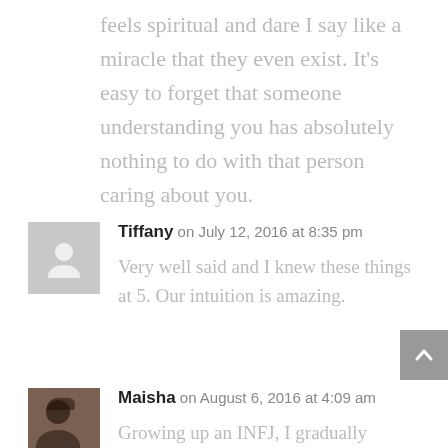feels spiritual and dare I say like a miracle that they even exist. It's easy to forget that someone understanding you has absolutely nothing to do with that person caring about you.
Tiffany on July 12, 2016 at 8:35 pm
Very well said and I knew these things at 5. Our intuition is amazing.
Maisha on August 6, 2016 at 4:09 am
Growing up an INFJ, I gradually learned, after a lot of tragic trial and error, I